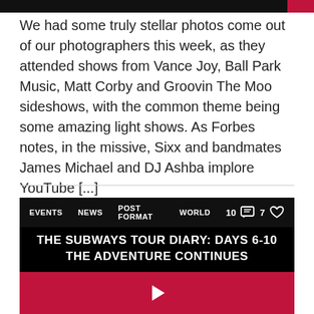We had some truly stellar photos come out of our photographers this week, as they attended shows from Vance Joy, Ball Park Music, Matt Corby and Groovin The Moo sideshows, with the common theme being some amazing light shows. As Forbes notes, in the missive, Sixx and bandmates James Michael and DJ Ashba implore YouTube [...]
[Figure (screenshot): A dark card with a tag bar showing EVENTS, NEWS, POST FORMAT, WORLD and engagement counts (10 comments, 7 likes), a black image area, and a title reading THE SUBWAYS TOUR DIARY: DAYS 6-10 THE ADVENTURE CONTINUES, with a pink footer bar containing a play button.]